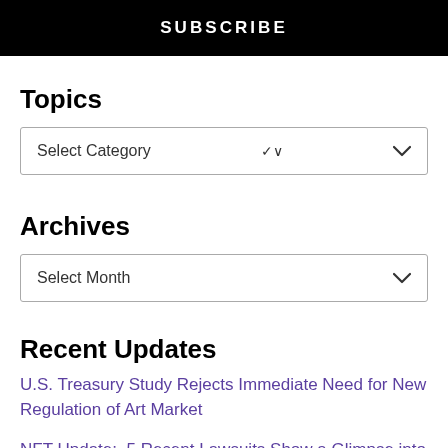SUBSCRIBE
Topics
Select Category
Archives
Select Month
Recent Updates
U.S. Treasury Study Rejects Immediate Need for New Regulation of Art Market
NFT Update:  5 Recent Lawsuits Show a Glimpse into